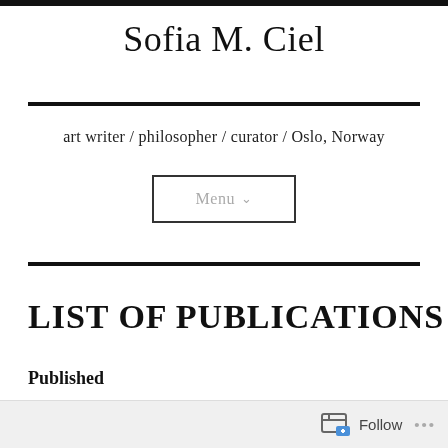Sofia M. Ciel
art writer / philosopher / curator / Oslo, Norway
[Figure (other): Menu button with dropdown arrow]
LIST OF PUBLICATIONS
Published
Follow ...